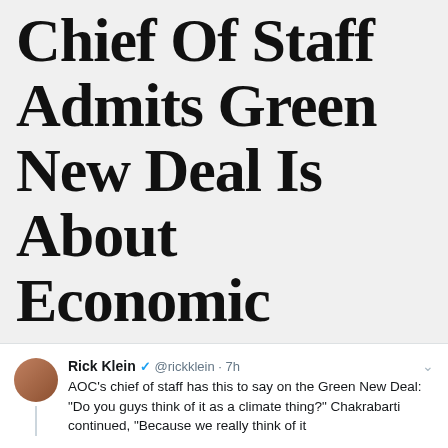Chief Of Staff Admits Green New Deal Is About Economic Change, Not Climate Control
Rick Klein @rickklein · 7h
AOC's chief of staff has this to say on the Green New Deal: "Do you guys think of it as a climate thing?" Chakrabarti continued, "Because we really think of it